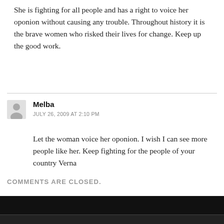She is fighting for all people and has a right to voice her oponion without causing any trouble. Throughout history it is the brave women who risked their lives for change. Keep up the good work.
Melba
JULY 26, 2009 AT 2:10 PM
Let the woman voice her oponion. I wish I can see more people like her. Keep fighting for the people of your country Verna
COMMENTS ARE CLOSED.